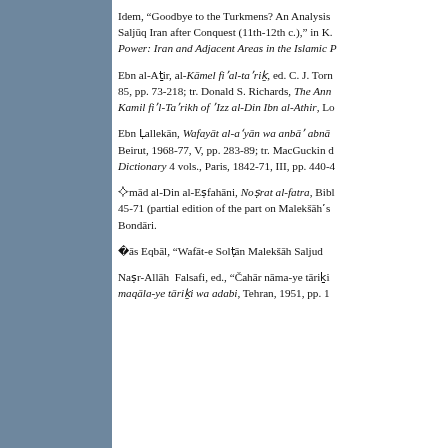Idem, “Goodbye to the Turkmens? An Analysis of Saljūq Iran after Conquest (11th-12th c.),” in K. Power: Iran and Adjacent Areas in the Islamic P...
Ebn al-Aṯir, al-Kāmel fiʼal-taʼriḵ, ed. C. J. Torn... 85, pp. 73-218; tr. Donald S. Richards, The Ann... Kamil fiʼl-Taʼrikh of ʼIzz al-Din Ibn al-Athir, Lo...
Ebn Ḵallekān, Wafayāt al-aʿyān wa anbāʾ abnā... Beirut, 1968-77, V, pp. 283-89; tr. MacGuckin d... Dictionary 4 vols., Paris, 1842-71, III, pp. 440-4...
ʼEmād al-Din al-Eṣfahāni, Noṣrat al-fatra, Bibl... 45-71 (partial edition of the part on Malekšāhʼs... Bondāri.
ʼAbbās Eqbāl, “Wafāt-e Solṭān Malekšāh Saljud...
Naṣr-Allāh  Falsafi, ed., “Čahār nāma-ye tāriḵi... maqāla-ye tāriḵi wa adabi, Tehran, 1951, pp. 1...